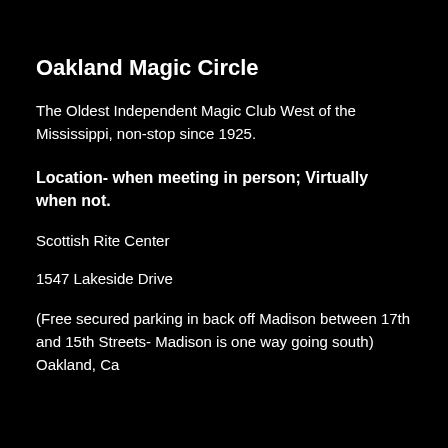Oakland Magic Circle
The Oldest Independent Magic Club West of the Mississippi, non-stop since 1925.
Location- when meeting in person; Virtually when not.
Scottish Rite Center
1547 Lakeside Drive
(Free secured parking in back off Madison between 17th and 15th Streets- Madison is one way going south)
Oakland, Ca